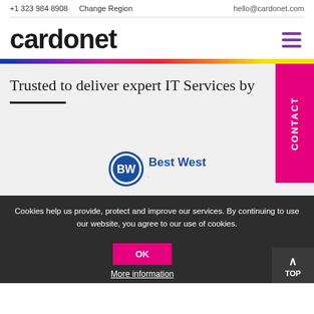+1 323 984 8908   Change Region   hello@cardonet.com
cardonet
Trusted to deliver expert IT Services by
[Figure (logo): Best Western logo with BW circle emblem and 'Best Western.' text in blue]
Cookies help us provide, protect and improve our services. By continuing to use our website, you agree to our use of cookies.
OK
More information